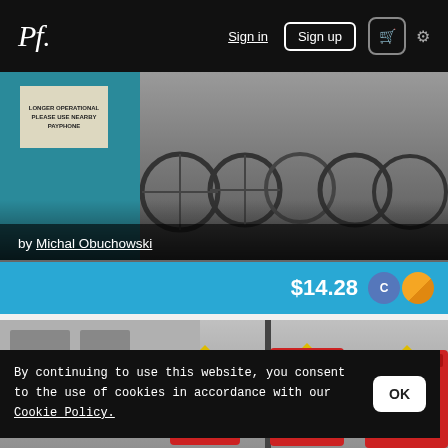Pf. | Sign in | Sign up | Cart | Settings
[Figure (photo): Photo of a teal door with a sign reading 'LONGER OPERATIONAL PLEASE USE NEARBY PAYPHONE' on the left, and a row of bicycles on the right, in black and white tones]
by Michal Obuchowski
$14.28
[Figure (photo): Black and white photo of red British telephone boxes (TELEPHONE booths) on a street]
By continuing to use this website, you consent to the use of cookies in accordance with our Cookie Policy.
OK